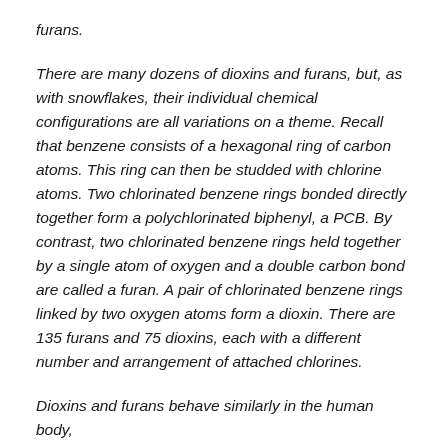furans.
There are many dozens of dioxins and furans, but, as with snowflakes, their individual chemical configurations are all variations on a theme. Recall that benzene consists of a hexagonal ring of carbon atoms. This ring can then be studded with chlorine atoms. Two chlorinated benzene rings bonded directly together form a polychlorinated biphenyl, a PCB. By contrast, two chlorinated benzene rings held together by a single atom of oxygen and a double carbon bond are called a furan. A pair of chlorinated benzene rings linked by two oxygen atoms form a dioxin. There are 135 furans and 75 dioxins, each with a different number and arrangement of attached chlorines.
Dioxins and furans behave similarly in the human body,